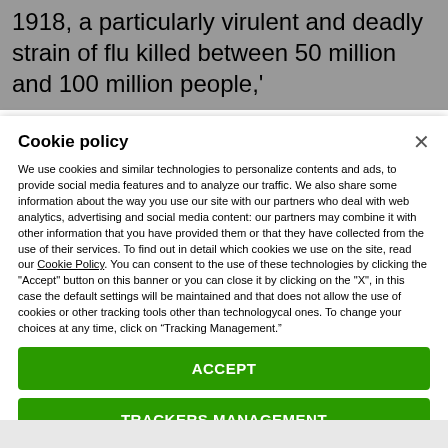1918, a particularly virulent and deadly strain of flu killed between 50 million and 100 million people,'
Cookie policy
We use cookies and similar technologies to personalize contents and ads, to provide social media features and to analyze our traffic. We also share some information about the way you use our site with our partners who deal with web analytics, advertising and social media content: our partners may combine it with other information that you have provided them or that they have collected from the use of their services. To find out in detail which cookies we use on the site, read our Cookie Policy. You can consent to the use of these technologies by clicking the "Accept" button on this banner or you can close it by clicking on the "X", in this case the default settings will be maintained and that does not allow the use of cookies or other tracking tools other than technologycal ones. To change your choices at any time, click on “Tracking Management.”
ACCEPT
TRACKERS MANAGEMENT
Show vendors | Show purposes